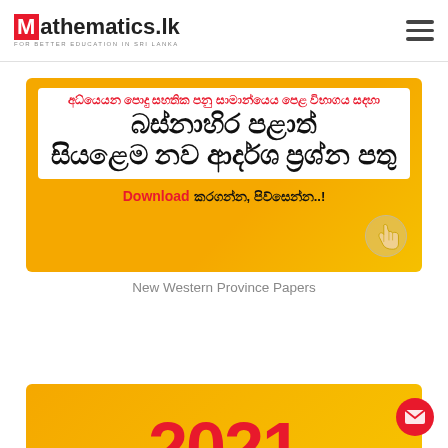Mathematics.lk
[Figure (infographic): Orange banner with white inner box containing Sinhala text about Western Province model papers for O/L exam, with Download button and hand pointer icon]
New Western Province Papers
[Figure (infographic): Partial orange banner showing large red year numbers at the bottom of the page]